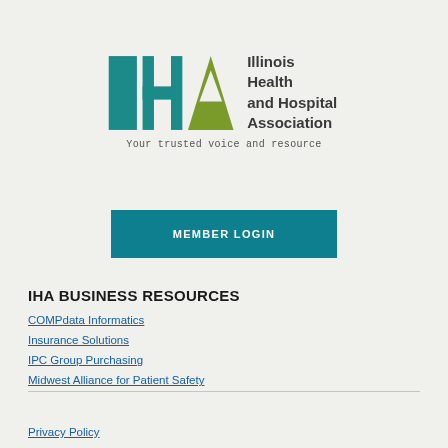[Figure (logo): IHA Illinois Health and Hospital Association logo with teal and olive green letter blocks and text]
Your trusted voice and resource
MEMBER LOGIN
IHA BUSINESS RESOURCES
COMPdata Informatics
Insurance Solutions
IPC Group Purchasing
Midwest Alliance for Patient Safety
Privacy Policy